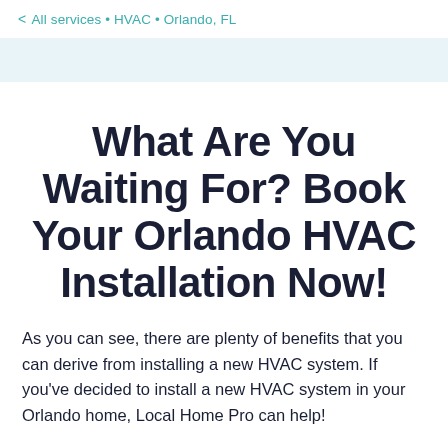< All services • HVAC • Orlando, FL
What Are You Waiting For? Book Your Orlando HVAC Installation Now!
As you can see, there are plenty of benefits that you can derive from installing a new HVAC system. If you've decided to install a new HVAC system in your Orlando home, Local Home Pro can help!